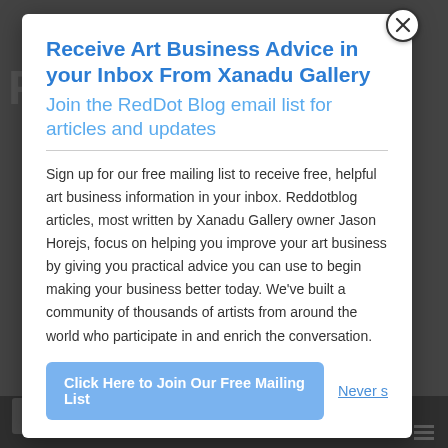Receive Art Business Advice in your Inbox From Xanadu Gallery
Join the RedDot Blog email list for articles and updates
Sign up for our free mailing list to receive free, helpful art business information in your inbox. Reddotblog articles, most written by Xanadu Gallery owner Jason Horejs, focus on helping you improve your art business by giving you practical advice you can use to begin making your business better today. We've built a community of thousands of artists from around the world who participate in and enrich the conversation.
Click Here to Join Our Free Mailing List
Never s